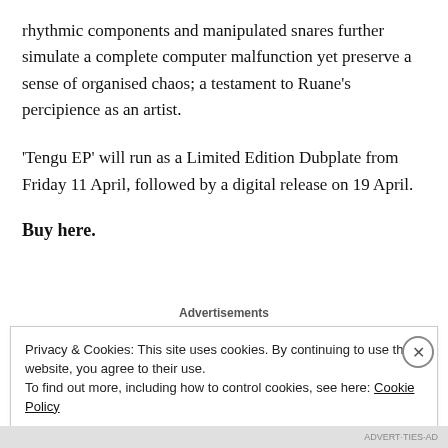rhythmic components and manipulated snares further simulate a complete computer malfunction yet preserve a sense of organised chaos; a testament to Ruane’s percipience as an artist.
‘Tengu EP’ will run as a Limited Edition Dubplate from Friday 11 April, followed by a digital release on 19 April.
Buy here.
Advertisements
Privacy & Cookies: This site uses cookies. By continuing to use this website, you agree to their use.
To find out more, including how to control cookies, see here: Cookie Policy
Close and accept